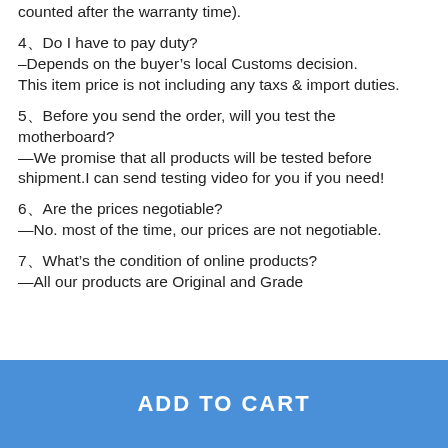counted after the warranty time).
4、Do I have to pay duty?
–Depends on the buyer’s local Customs decision.
This item price is not including any taxs & import duties.
5、Before you send the order, will you test the motherboard?
—We promise that all products will be tested before shipment.I can send testing video for you if you need!
6、Are the prices negotiable?
—No. most of the time, our prices are not negotiable.
7、What’s the condition of online products?
—All our products are Original and Grade
ADD TO CART